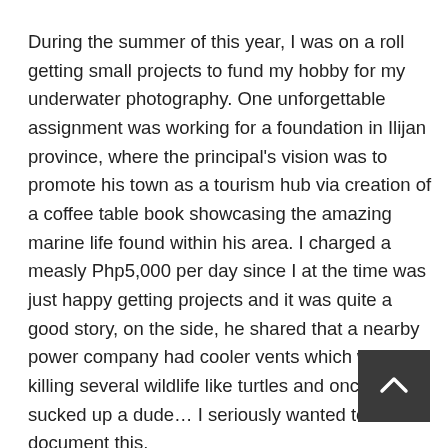During the summer of this year, I was on a roll getting small projects to fund my hobby for my underwater photography. One unforgettable assignment was working for a foundation in Ilijan province, where the principal's vision was to promote his town as a tourism hub via creation of a coffee table book showcasing the amazing marine life found within his area. I charged a measly Php5,000 per day since I at the time was just happy getting projects and it was quite a good story, on the side, he shared that a nearby power company had cooler vents which was killing several wildlife like turtles and once even sucked up a dude… I seriously wanted to document this.